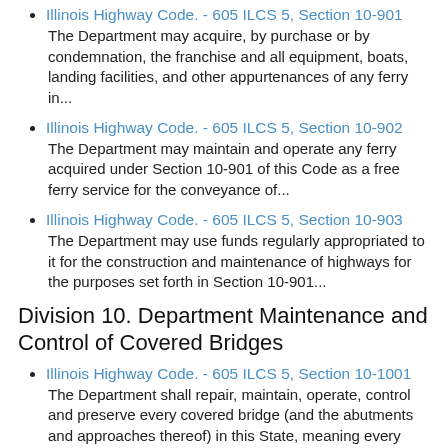Illinois Highway Code. - 605 ILCS 5, Section 10-901
The Department may acquire, by purchase or by condemnation, the franchise and all equipment, boats, landing facilities, and other appurtenances of any ferry in...
Illinois Highway Code. - 605 ILCS 5, Section 10-902
The Department may maintain and operate any ferry acquired under Section 10-901 of this Code as a free ferry service for the conveyance of...
Illinois Highway Code. - 605 ILCS 5, Section 10-903
The Department may use funds regularly appropriated to it for the construction and maintenance of highways for the purposes set forth in Section 10-901...
Division 10. Department Maintenance and Control of Covered Bridges
Illinois Highway Code. - 605 ILCS 5, Section 10-1001
The Department shall repair, maintain, operate, control and preserve every covered bridge (and the abutments and approaches thereof) in this State, meaning every structure...
Last modified: February 18, 2015